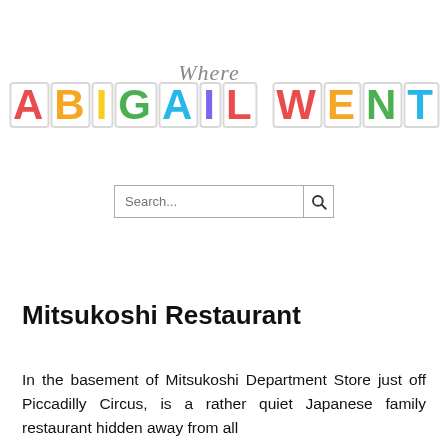[Figure (logo): Where Abigail Went blog logo with colorful block letters]
[Figure (screenshot): Search input box with search button/icon]
Mitsukoshi Restaurant
In the basement of Mitsukoshi Department Store just off Piccadilly Circus, is a rather quiet Japanese family restaurant hidden away from all